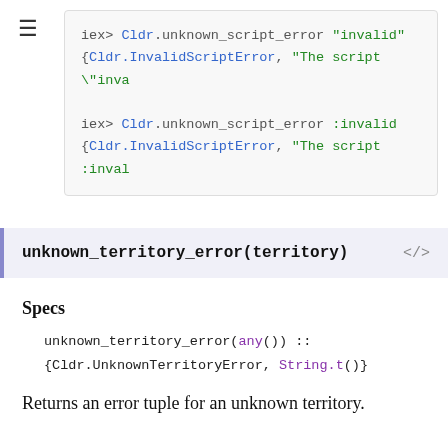[Figure (screenshot): Code block showing iex> Cldr.unknown_script_error "invalid" returning {Cldr.InvalidScriptError, "The script \"inva...} and iex> Cldr.unknown_script_error :invalid returning {Cldr.InvalidScriptError, "The script :inval...}]
unknown_territory_error(territory)
Specs
unknown_territory_error(any()) :: {Cldr.UnknownTerritoryError, String.t()}
Returns an error tuple for an unknown territory.